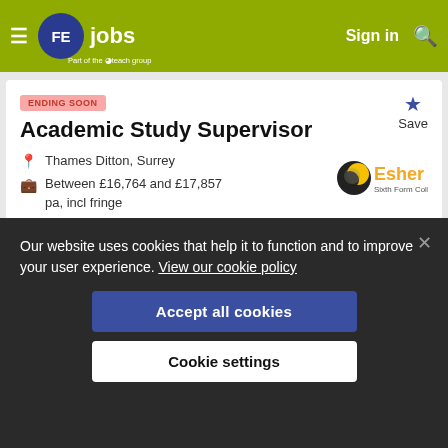FE jobs — Part of the Eteach group — Sign in
[Figure (logo): Esher Sixth Form College logo with circular yellow/dark icon and orange/dark text]
ENDING SOON
Academic Study Supervisor
Thames Ditton, Surrey
Between £16,764 and £17,857 pa, incl fringe
18th August 2022
Our website uses cookies that help it to function and to improve your user experience. View our cookie policy
Accept all cookies
Cookie settings